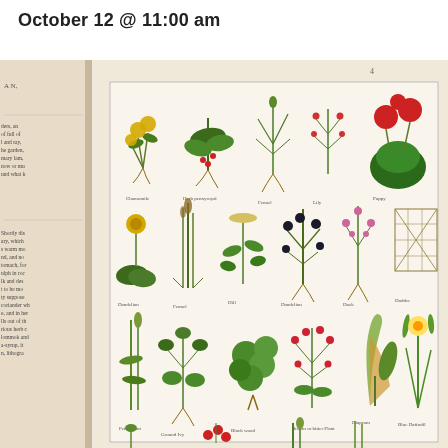October 12 @ 11:00 am
[Figure (photo): Photograph of an open antique botanical book showing a colorful illustrated plate with rows of hand-colored botanical drawings of various herbs and plants, including flowers, roots, and leaves. The book spine and partial text columns are visible on the left side of the image. The botanical plate contains three rows of plant illustrations with labels beneath each illustration.]